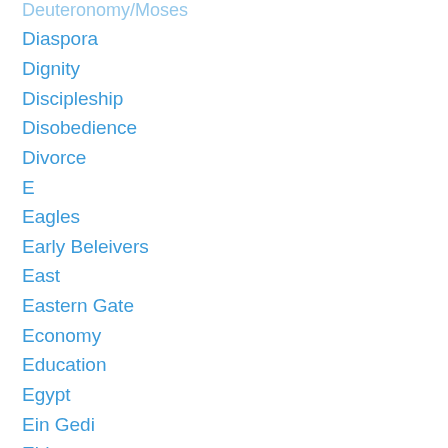Deuteronomy/Moses
Diaspora
Dignity
Discipleship
Disobedience
Divorce
E
Eagles
Early Beleivers
East
Eastern Gate
Economy
Education
Egypt
Ein Gedi
Elders
Eliezer
Elijah
Elisha
Endtime
Enemies